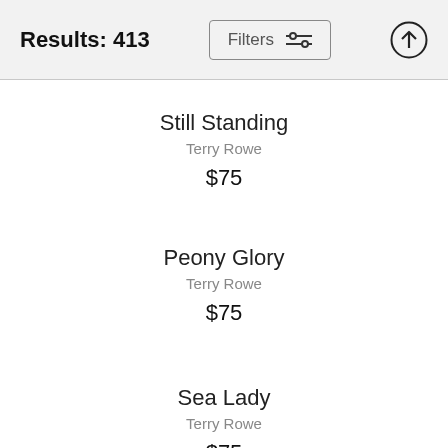Results: 413
Still Standing
Terry Rowe
$75
Peony Glory
Terry Rowe
$75
Sea Lady
Terry Rowe
$75